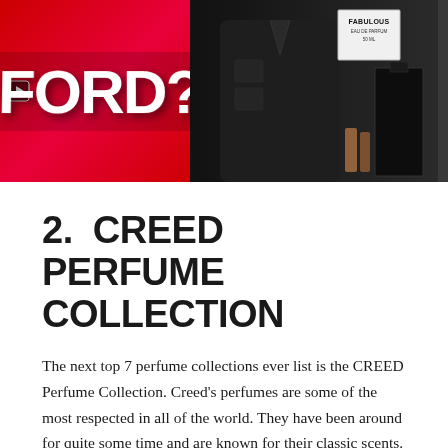[Figure (photo): Banner image showing a red background with large white bold text reading 'FORD?' on the left side, and a dark background with a man in a dark jacket, a perfume bottle labeled 'FABULOUS EAU DE PARFUM 50 ML', and smaller perfume bottles on the right side.]
2.  CREED PERFUME COLLECTION
The next top 7 perfume collections ever list is the CREED Perfume Collection. Creed's perfumes are some of the most respected in all of the world. They have been around for quite some time and are known for their classic scents.
CREED starts off this list with its Aventus women's fragrance. This perfume combines spring floral scents like